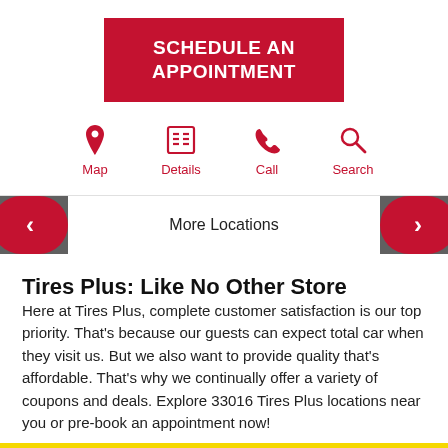[Figure (screenshot): Red button with white bold text reading SCHEDULE AN APPOINTMENT]
[Figure (infographic): Four red icons in a row: Map (pin icon), Details (newspaper icon), Call (phone icon), Search (magnifying glass icon), each labeled in red below]
[Figure (infographic): Gray navigation bar with red arrow buttons on left and right, white center area with text More Locations]
Tires Plus: Like No Other Store
Here at Tires Plus, complete customer satisfaction is our top priority. That's because our guests can expect total car when they visit us. But we also want to provide quality that's affordable. That's why we continually offer a variety of coupons and deals. Explore 33016 Tires Plus locations near you or pre-book an appointment now!
[Figure (other): Yellow bar at the bottom of the page]